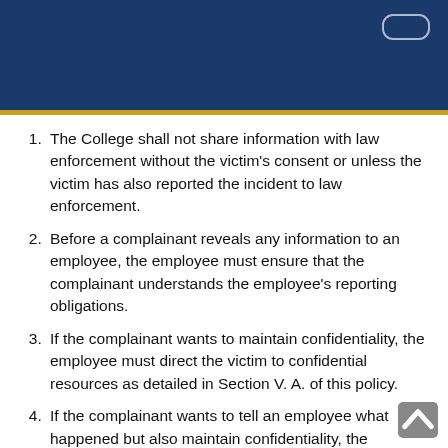The College shall not share information with law enforcement without the victim’s consent or unless the victim has also reported the incident to law enforcement.
Before a complainant reveals any information to an employee, the employee must ensure that the complainant understands the employee’s reporting obligations.
If the complainant wants to maintain confidentiality, the employee must direct the victim to confidential resources as detailed in Section V. A. of this policy.
If the complainant wants to tell an employee what happened but also maintain confidentiality, the employee must advise the complainant that the College will consider the request but cannot guarantee that it will be able to honor it. In reporting the details of the